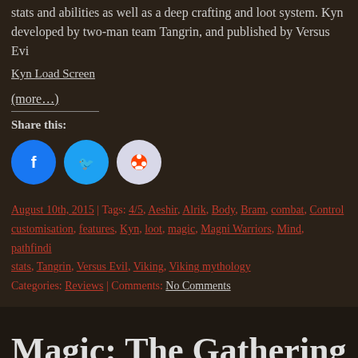stats and abilities as well as a deep crafting and loot system. Kyn developed by two-man team Tangrin, and published by Versus Evi
[Figure (other): Kyn Load Screen image link]
(more…)
Share this:
[Figure (infographic): Social share buttons: Facebook, Twitter, Reddit]
August 10th, 2015 | Tags: 4/5, Aeshir, Alrik, Body, Bram, combat, Control, customisation, features, Kyn, loot, magic, Magni Warriors, Mind, pathfindi, stats, Tangrin, Versus Evil, Viking, Viking mythology
Categories: Reviews | Comments: No Comments
Magic: The Gathering Comma 2013